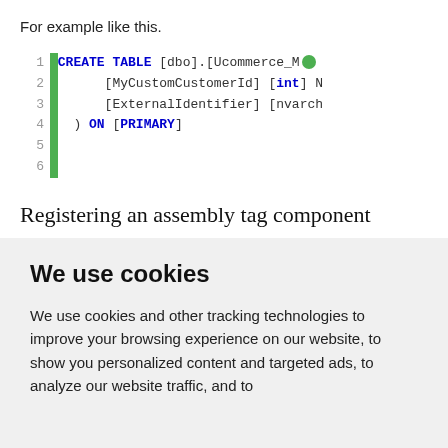For example like this.
[Figure (screenshot): Code block showing SQL CREATE TABLE statement with line numbers 1-6 and a green vertical bar. Lines: 1: CREATE TABLE [dbo].[Ucommerce_M... 2: [MyCustomCustomerId] [int] N... 3: [ExternalIdentifier] [nvarch... 4: ) ON [PRIMARY] 5: (empty) 6: (empty)]
Registering an assembly tag component
Regardless of which strategy you have chosen, you need
We use cookies
We use cookies and other tracking technologies to improve your browsing experience on our website, to show you personalized content and targeted ads, to analyze our website traffic, and to